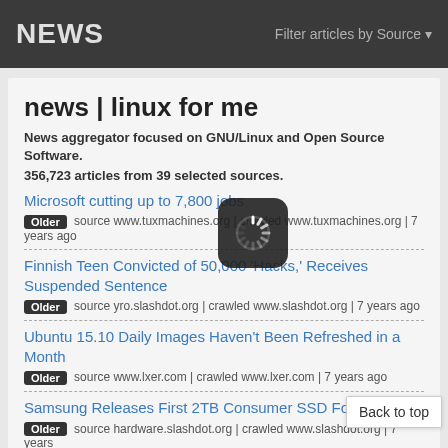NEWS   Filter articles by Source ▾
news | linux for me
News aggregator focused on GNU/Linux and Open Source Software.
356,723 articles from 39 selected sources.
Microsoft cutting up to 7,800 jobs
Older   source www.tuxmachines.org | crawled www.tuxmachines.org | 7 years ago
Finnish Teen Convicted of 50,000 'Hacks,' Receives Suspended Sentence
Older   source yro.slashdot.org | crawled www.slashdot.org | 7 years ago
Ubuntu 15.10 Daily Images Haven't Been Refreshed in a Month
Older   source www.lxer.com | crawled www.lxer.com | 7 years ago
Samsung Releases First 2TB Consumer SSD Fo...
Older   source hardware.slashdot.org | crawled www.slashdot.org | 7 years ago